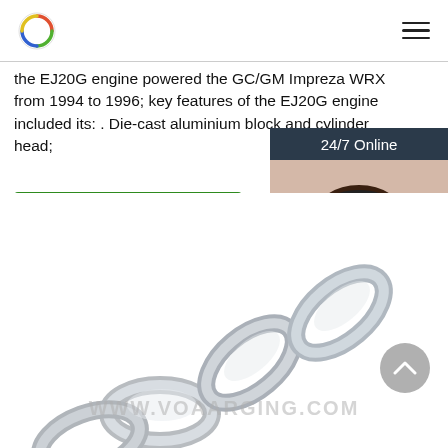Logo and navigation menu
the EJ20G engine powered the GC/GM Impreza WRX from 1994 to 1996; key features of the EJ20G engine included its: . Die-cast aluminium block and cylinder head;
Get Price
[Figure (photo): Chat widget with 24/7 Online label, photo of woman with headset, 'Click here for free chat!' text, and QUOTATION button]
[Figure (photo): Galvanized steel chain links photo in lower portion of page]
WWW.VOAARGING.COM